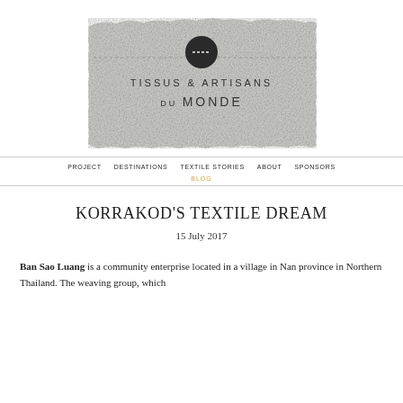[Figure (logo): Tissus & Artisans du Monde logo on a textured linen/fabric background with a dark circle icon and dashed line above the text]
PROJECT   DESTINATIONS   TEXTILE STORIES   ABOUT   SPONSORS
BLOG
KORRAKOD'S TEXTILE DREAM
15 July 2017
Ban Sao Luang is a community enterprise located in a village in Nan province in Northern Thailand. The weaving group, which